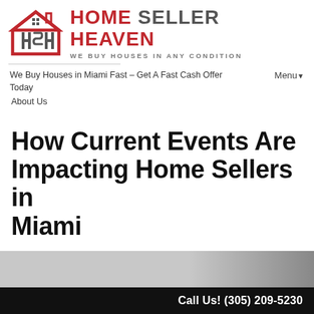[Figure (logo): Home Seller Heaven logo — red house/HSH icon with bold text 'HOME SELLER HEAVEN' and tagline 'WE BUY HOUSES IN ANY CONDITION']
We Buy Houses in Miami Fast – Get A Fast Cash Offer Today   Menu▾
About Us
How Current Events Are Impacting Home Sellers in Miami
August 30, 2020
By David Sinai
[Figure (photo): Partially visible photo of a person, cropped at bottom of page]
Call Us! (305) 209-5230